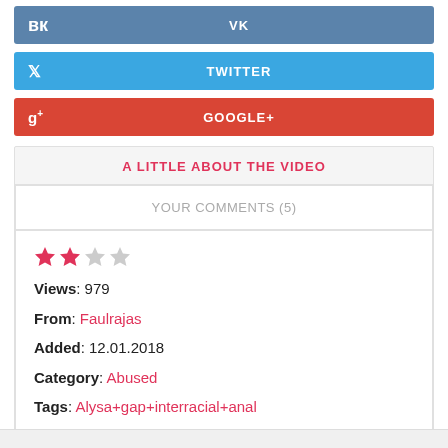VK
TWITTER
GOOGLE+
A LITTLE ABOUT THE VIDEO
YOUR COMMENTS (5)
Views: 979
From: Faulrajas
Added: 12.01.2018
Category: Abused
Tags: Alysa+gap+interracial+anal